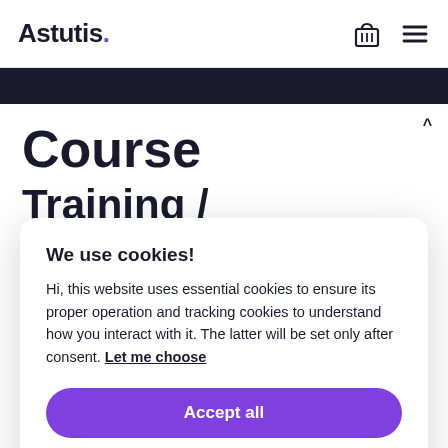Astutis.
Course
Training /
We use cookies!
Hi, this website uses essential cookies to ensure its proper operation and tracking cookies to understand how you interact with it. The latter will be set only after consent. Let me choose
Accept all
Accept essential